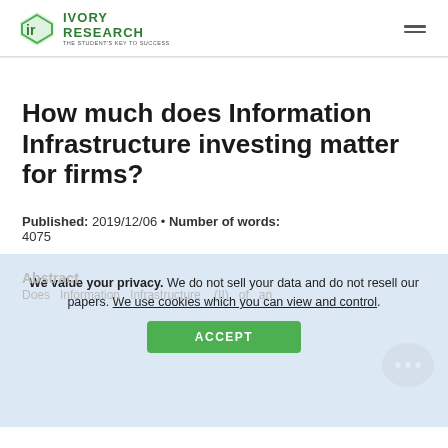IVORY RESEARCH — THE STUDENT'S KEY TO SUCCESS
How much does Information Infrastructure investing matter for firms?
Published: 2019/12/06 • Number of words: 4075
We value your privacy. We do not sell your data and do not resell our papers. We use cookies which you can view and control.
ACCEPT
Abstract
Does Information Infrastructure (II) of an